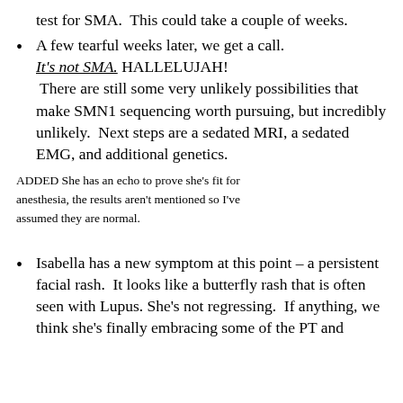test for SMA.  This could take a couple of weeks.
A few tearful weeks later, we get a call. It’s not SMA. HALLELUJAH! There are still some very unlikely possibilities that make SMN1 sequencing worth pursuing, but incredibly unlikely.  Next steps are a sedated MRI, a sedated EMG, and additional genetics.
ADDED She has an echo to prove she’s fit for anesthesia, the results aren’t mentioned so I’ve assumed they are normal.
Isabella has a new symptom at this point – a persistent facial rash.  It looks like a butterfly rash that is often seen with Lupus. She’s not regressing.  If anything, we think she’s finally embracing some of the PT and